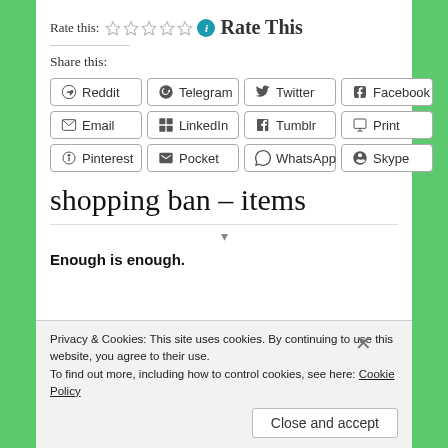Rate this:  ☆☆☆☆☆  ℹ Rate This
Share this:
[Figure (screenshot): Social share buttons grid: Reddit, Telegram, Twitter, Facebook, Email, LinkedIn, Tumblr, Print, Pinterest, Pocket, WhatsApp, Skype]
shopping ban – items
Enough is enough.
Privacy & Cookies: This site uses cookies. By continuing to use this website, you agree to their use.
To find out more, including how to control cookies, see here: Cookie Policy